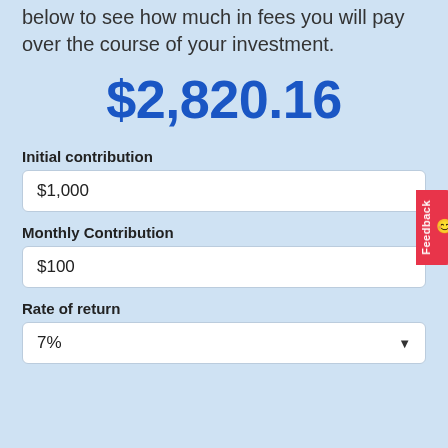below to see how much in fees you will pay over the course of your investment.
$2,820.16
Initial contribution
$1,000
Monthly Contribution
$100
Rate of return
7%